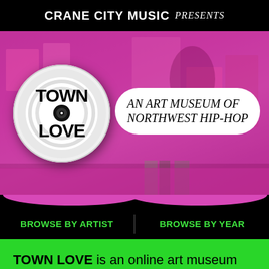CRANE CITY MUSIC presents
[Figure (illustration): Town Love logo on vinyl record circle with magenta-tinted photo background showing hip-hop art gallery posters, and a white pill-shaped badge reading 'AN ART MUSEUM OF NORTHWEST HIP-HOP']
BROWSE BY ARTIST
BROWSE BY YEAR
TOWN LOVE is an online art museum dedicated to celebrating the vibrant past and present of Northwest Hip-Hop...